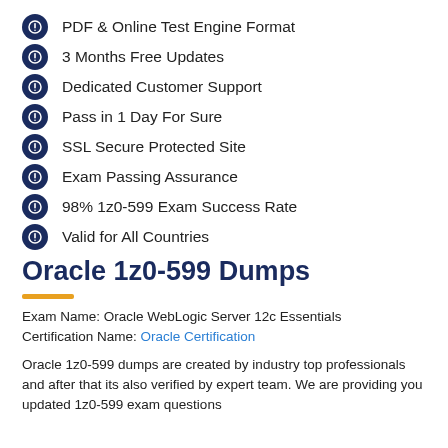PDF & Online Test Engine Format
3 Months Free Updates
Dedicated Customer Support
Pass in 1 Day For Sure
SSL Secure Protected Site
Exam Passing Assurance
98% 1z0-599 Exam Success Rate
Valid for All Countries
Oracle 1z0-599 Dumps
Exam Name: Oracle WebLogic Server 12c Essentials
Certification Name: Oracle Certification
Oracle 1z0-599 dumps are created by industry top professionals and after that its also verified by expert team. We are providing you updated 1z0-599 exam questions